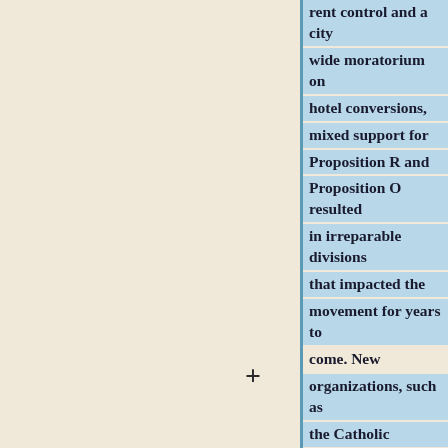rent control and a city wide moratorium on hotel conversions, mixed support for Proposition R and Proposition O resulted in irreparable divisions that impacted the movement for years to come. New organizations, such as the Catholic Archdiocese, Tenderloin Housing Clinic, North of Market Planning Coalition, Gray Panthers, New American Movement,